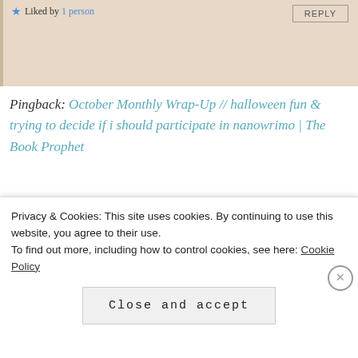Liked by 1 person   REPLY
Pingback: October Monthly Wrap-Up // halloween fun & trying to decide if i should participate in nanowrimo | The Book Prophet
Advertisements
[Figure (illustration): WooCommerce advertisement banner: purple background with WooCommerce logo on left, arrow/teal shape, and text 'How to start selling subscriptions online' on grey background with orange and blue decorative blobs]
Sionna (Books in Her Eyes)
OCTOBER 6, 2018 AT 6:22 AM
Privacy & Cookies: This site uses cookies. By continuing to use this website, you agree to their use.
To find out more, including how to control cookies, see here: Cookie Policy
Close and accept